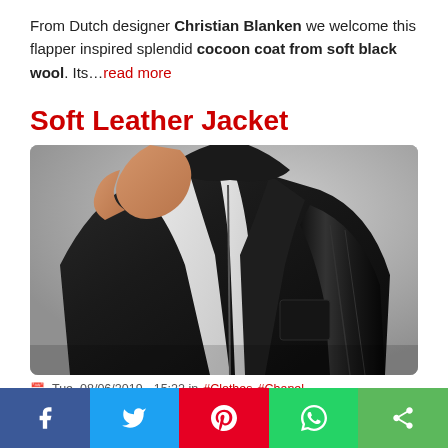From Dutch designer Christian Blanken we welcome this flapper inspired splendid cocoon coat from soft black wool. Its...read more
Soft Leather Jacket
[Figure (photo): Person wearing a soft black leather jacket with zipper, posed against a light grey background. The face is not visible.]
Tue, 08/06/2019 - 15:22 in #Clothes #Chanel